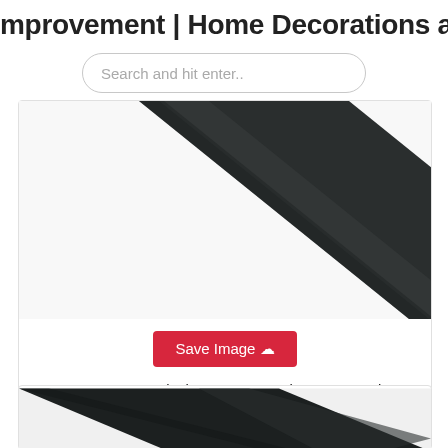mprovement | Home Decorations and
Search and hit enter..
[Figure (photo): Close-up photo of black 12mm PVC insert strip against white background, showing diagonal orientation]
Save Image
12mm Pvc Insert Black Amazon Co Uk Sports Outdoors
[Figure (photo): Partial view of black PVC strip product, cropped at bottom of page]